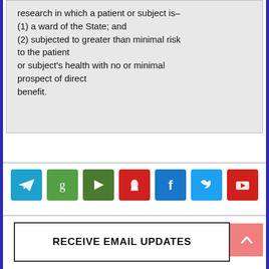research in which a patient or subject is–
(1) a ward of the State; and
(2) subjected to greater than minimal risk to the patient
or subject's health with no or minimal prospect of direct
benefit.
[Figure (other): Row of 7 social media icon buttons: Telegram (blue), Goodreads (green), Rumble (dark green), Substack (red), Facebook (blue), Twitter (light blue), YouTube (red)]
RECEIVE EMAIL UPDATES